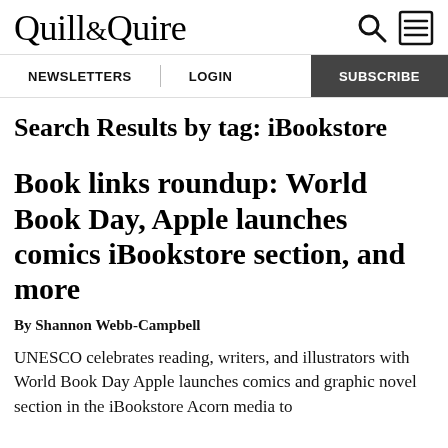Quill & Quire
Search Results by tag: iBookstore
Book links roundup: World Book Day, Apple launches comics iBookstore section, and more
By Shannon Webb-Campbell
UNESCO celebrates reading, writers, and illustrators with World Book Day Apple launches comics and graphic novel section in the iBookstore Acorn media to